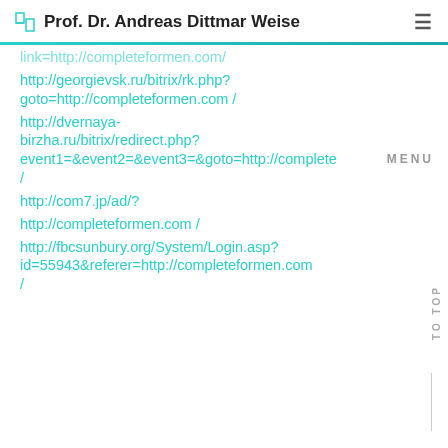Prof. Dr. Andreas Dittmar Weise
link=http://completeformen.com/
http://georgievsk.ru/bitrix/rk.php?goto=http://completeformen.com /
http://dvernaya-birzha.ru/bitrix/redirect.php?event1=&event2=&event3=&goto=http://complete /
http://com7.jp/ad/?
http://completeformen.com /
http://fbcsunbury.org/System/Login.asp?id=55943&referer=http://completeformen.com /